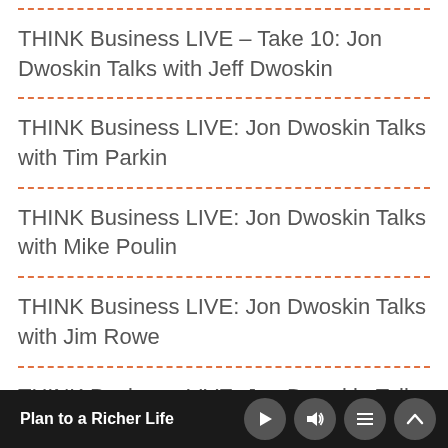THINK Business LIVE – Take 10: Jon Dwoskin Talks with Jeff Dwoskin
THINK Business LIVE: Jon Dwoskin Talks with Tim Parkin
THINK Business LIVE: Jon Dwoskin Talks with Mike Poulin
THINK Business LIVE: Jon Dwoskin Talks with Jim Rowe
THINK Business LIVE: Jon Dwoskin Talks
Plan to a Richer Life